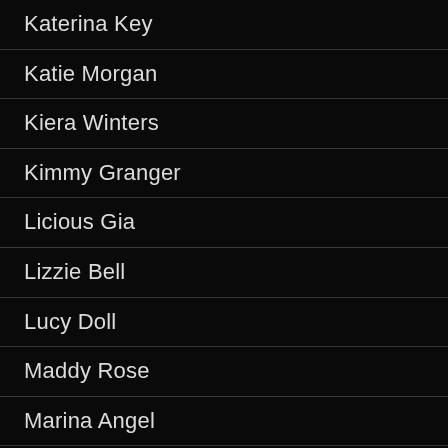Katerina Key
Katie Morgan
Kiera Winters
Kimmy Granger
Licious Gia
Lizzie Bell
Lucy Doll
Maddy Rose
Marina Angel
Marry Lynn
Melissa May
Mila Jade
Nadia Styles